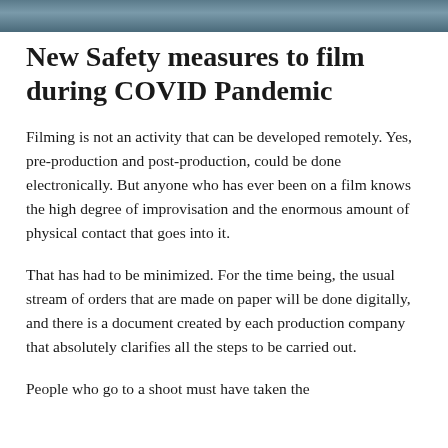[Figure (photo): Partial photo strip at the top of the page, showing a bluish-gray toned image, likely a film set scene.]
New Safety measures to film during COVID Pandemic
Filming is not an activity that can be developed remotely. Yes, pre-production and post-production, could be done electronically. But anyone who has ever been on a film knows the high degree of improvisation and the enormous amount of physical contact that goes into it.
That has had to be minimized. For the time being, the usual stream of orders that are made on paper will be done digitally, and there is a document created by each production company that absolutely clarifies all the steps to be carried out.
People who go to a shoot must have taken the